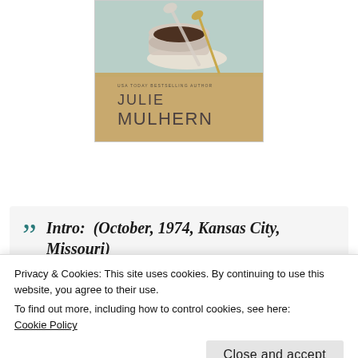[Figure (illustration): Book cover illustration showing a coffee cup with a spoon from above, on a light teal/sage background, with text 'USA TODAY BESTSELLING AUTHOR' and author name 'JULIE MULHERN' in stylized art-deco lettering on a kraft paper background]
Intro:  (October, 1974, Kansas City, Missouri)
Privacy & Cookies: This site uses cookies. By continuing to use this website, you agree to their use.
To find out more, including how to control cookies, see here:
Cookie Policy
Close and accept